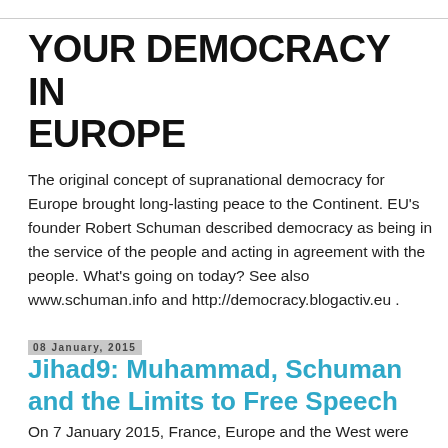YOUR DEMOCRACY IN EUROPE
The original concept of supranational democracy for Europe brought long-lasting peace to the Continent. EU's founder Robert Schuman described democracy as being in the service of the people and acting in agreement with the people. What's going on today? See also www.schuman.info and http://democracy.blogactiv.eu .
08 January, 2015
Jihad9: Muhammad, Schuman and the Limits to Free Speech
On 7 January 2015, France, Europe and the West were faced with people who killed rather than let journalists expose an unpopular truth. Shouting 'Allah is great', three